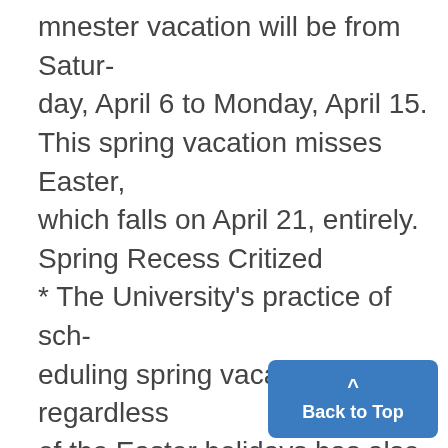mnester vacation will be from Saturday, April 6 to Monday, April 15. This spring vacation misses Easter, which falls on April 21, entirely.
Spring Recess Critized
* The University's practice of scheduling spring vacation regardless of the Easter holidays has also come under criticism.,
At a recent Inter-House Council meeting, one member brought up the subject in connection with this semester's vacation, which beg the day before Easter.